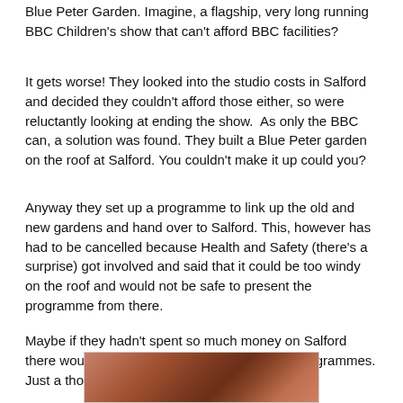Blue Peter Garden. Imagine, a flagship, very long running BBC Children's show that can't afford BBC facilities?
It gets worse! They looked into the studio costs in Salford and decided they couldn't afford those either, so were reluctantly looking at ending the show.  As only the BBC can, a solution was found. They built a Blue Peter garden on the roof at Salford. You couldn't make it up could you?
Anyway they set up a programme to link up the old and new gardens and hand over to Salford. This, however has had to be cancelled because Health and Safety (there's a surprise) got involved and said that it could be too windy on the roof and would not be safe to present the programme from there.
Maybe if they hadn't spent so much money on Salford there would have been enough to fund some programmes. Just a thought!
[Figure (photo): Close-up photo of what appears to be a bird or animal with brown/reddish-brown tones, partially visible at the bottom of the page]